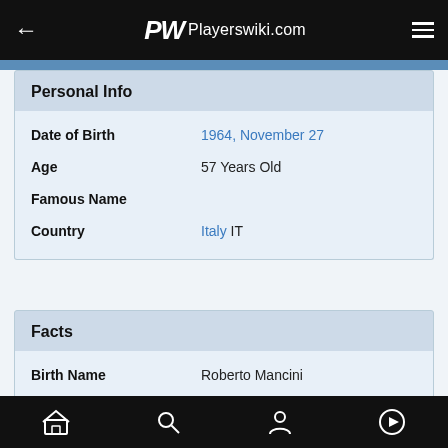Playerswiki.com
Personal Info
| Field | Value |
| --- | --- |
| Date of Birth | 1964, November 27 |
| Age | 57 Years Old |
| Famous Name |  |
| Country | Italy IT |
Facts
| Field | Value |
| --- | --- |
| Birth Name | Roberto Mancini |
| Birth Place | Lesi |
ADVERTISEMENT
Home | Search | Profile | Play